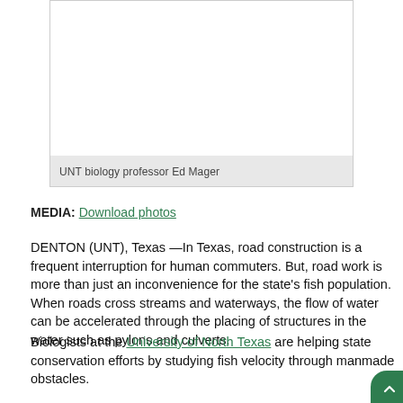[Figure (photo): Photo of UNT biology professor Ed Mager]
UNT biology professor Ed Mager
MEDIA: Download photos
DENTON (UNT), Texas —In Texas, road construction is a frequent interruption for human commuters. But, road work is more than just an inconvenience for the state's fish population. When roads cross streams and waterways, the flow of water can be accelerated through the placing of structures in the water such as pylons and culverts.
Biologists at the University of North Texas are helping state conservation efforts by studying fish velocity through manmade obstacles.